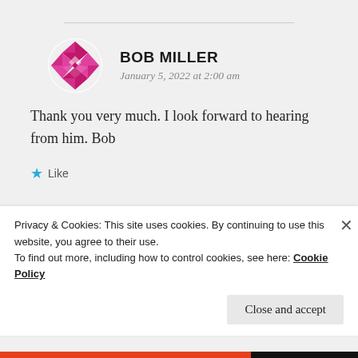BOB MILLER
January 5, 2022 at 2:00 am
Thank you very much. I look forward to hearing from him. Bob
Like
BOB MILLER
January 4, 2022 at 1:27 am
Privacy & Cookies: This site uses cookies. By continuing to use this website, you agree to their use. To find out more, including how to control cookies, see here: Cookie Policy
Close and accept